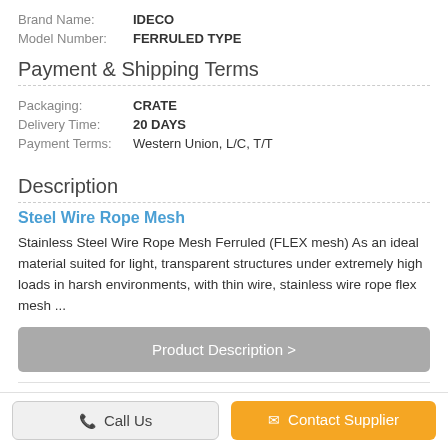Brand Name: IDECO
Model Number: FERRULED TYPE
Payment & Shipping Terms
Packaging: CRATE
Delivery Time: 20 DAYS
Payment Terms: Western Union, L/C, T/T
Description
Steel Wire Rope Mesh
Stainless Steel Wire Rope Mesh Ferruled (FLEX mesh) As an ideal material suited for light, transparent structures under extremely high loads in harsh environments, with thin wire, stainless wire rope flex mesh ...
Product Description >
More Steel Wire Rope Mesh